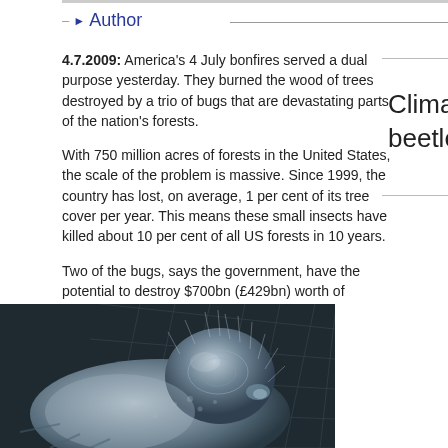Author
4.7.2009: America's 4 July bonfires served a dual purpose yesterday. They burned the wood of trees destroyed by a trio of bugs that are devastating parts of the nation's forests.
With 750 million acres of forests in the United States, the scale of the problem is massive. Since 1999, the country has lost, on average, 1 per cent of its tree cover per year. This means these small insects have killed about 10 per cent of all US forests in 10 years.
Two of the bugs, says the government, have the potential to destroy $700bn (£429bn) worth of forests.
Climate beetles
[Figure (photo): Close-up macro photograph of a beetle, showing detailed textured exoskeleton in grey-blue tones against a dark mesh/grid background]